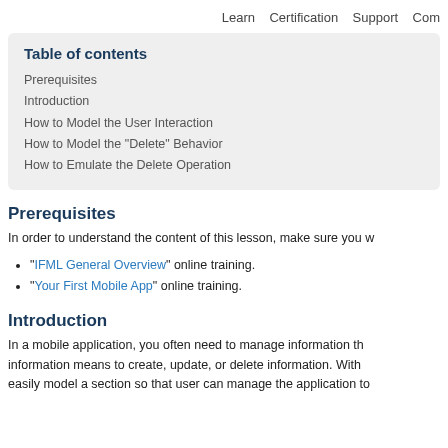Learn   Certification   Support   Com
Table of contents
Prerequisites
Introduction
How to Model the User Interaction
How to Model the "Delete" Behavior
How to Emulate the Delete Operation
Prerequisites
In order to understand the content of this lesson, make sure you w
"IFML General Overview" online training.
"Your First Mobile App" online training.
Introduction
In a mobile application, you often need to manage information th information means to create, update, or delete information. With easily model a section so that user can manage the application to